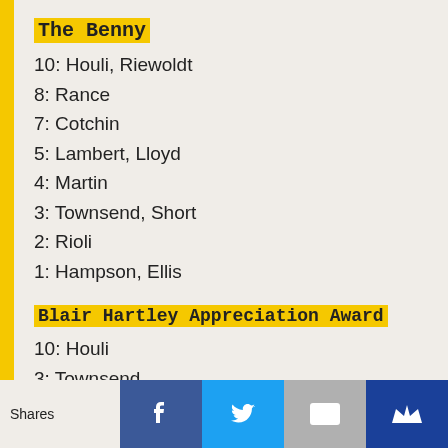The Benny
10: Houli, Riewoldt
8: Rance
7: Cotchin
5: Lambert, Lloyd
4: Martin
3: Townsend, Short
2: Rioli
1: Hampson, Ellis
Blair Hartley Appreciation Award
10: Houli
3: Townsend
1: Hampson
Anthony Banik Best First Year Player
3: Short
2: Rioli
Shares